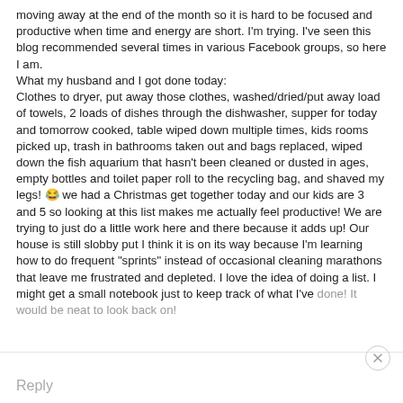moving away at the end of the month so it is hard to be focused and productive when time and energy are short. I'm trying. I've seen this blog recommended several times in various Facebook groups, so here I am.
What my husband and I got done today:
Clothes to dryer, put away those clothes, washed/dried/put away load of towels, 2 loads of dishes through the dishwasher, supper for today and tomorrow cooked, table wiped down multiple times, kids rooms picked up, trash in bathrooms taken out and bags replaced, wiped down the fish aquarium that hasn't been cleaned or dusted in ages, empty bottles and toilet paper roll to the recycling bag, and shaved my legs! 😂 we had a Christmas get together today and our kids are 3 and 5 so looking at this list makes me actually feel productive! We are trying to just do a little work here and there because it adds up! Our house is still slobby put I think it is on its way because I'm learning how to do frequent "sprints" instead of occasional cleaning marathons that leave me frustrated and depleted. I love the idea of doing a list. I might get a small notebook just to keep track of what I've done! It would be neat to look back on!
Reply